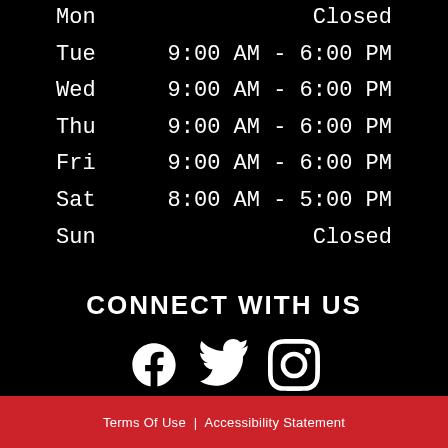| Day | Hours |
| --- | --- |
| Mon | Closed |
| Tue | 9:00 AM - 6:00 PM |
| Wed | 9:00 AM - 6:00 PM |
| Thu | 9:00 AM - 6:00 PM |
| Fri | 9:00 AM - 6:00 PM |
| Sat | 8:00 AM - 5:00 PM |
| Sun | Closed |
CONNECT WITH US
[Figure (illustration): Social media icons: Facebook, Twitter, Instagram]
Terms Of Use | Accessibility Statement